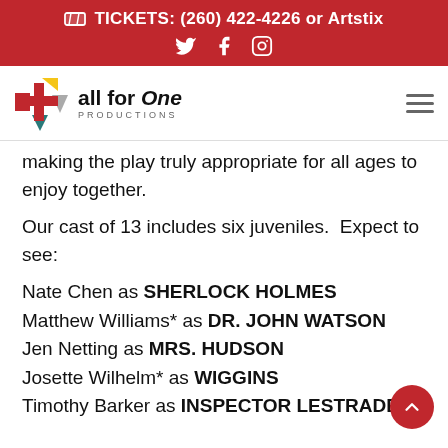TICKETS: (260) 422-4226 or Artstix
[Figure (logo): All for One Productions logo with colorful cross/plus icon]
making the play truly appropriate for all ages to enjoy together.
Our cast of 13 includes six juveniles.  Expect to see:
Nate Chen as SHERLOCK HOLMES
Matthew Williams* as DR. JOHN WATSON
Jen Netting as MRS. HUDSON
Josette Wilhelm* as WIGGINS
Timothy Barker as INSPECTOR LESTRADE (and more)